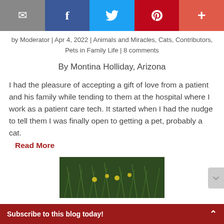[Figure (other): Social sharing bar with email, Facebook, Twitter, Pinterest, and plus buttons]
by Moderator | Apr 4, 2022 | Animals and Miracles, Cats, Contributors, Pets in Family Life | 8 comments
By Montina Holliday, Arizona
I had the pleasure of accepting a gift of love from a patient and his family while tending to them at the hospital where I work as a patient care tech. It started when I had the nudge to tell them I was finally open to getting a pet, probably a cat.
Read More
[Figure (photo): A photograph showing grass and plants with small yellow flowers or fruit]
Subscribe to this blog today!